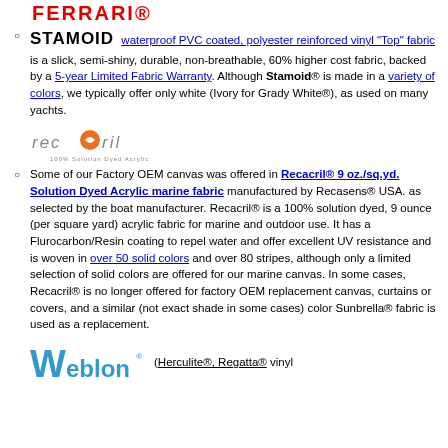STAMOID waterproof PVC coated, polyester reinforced vinyl "Top" fabric is a slick, semi-shiny, durable, non-breathable, 60% higher cost fabric, backed by a 5-year Limited Fabric Warranty. Although Stamoid® is made in a variety of colors, we typically offer only white (Ivory for Grady White®), as used on many yachts.
[Figure (logo): Recacril logo - orange circle with 'recocril' text and '100% Solution Dyed Acrylic' tagline]
Some of our Factory OEM canvas was offered in Recacril® 9 oz./sq.yd. Solution Dyed Acrylic marine fabric manufactured by Recasens® USA. as selected by the boat manufacturer. Recacril® is a 100% solution dyed, 9 ounce (per square yard) acrylic fabric for marine and outdoor use. It has a Flurocarbon/Resin coating to repel water and offer excellent UV resistance and is woven in over 50 solid colors and over 80 stripes, although only a limited selection of solid colors are offered for our marine canvas. In some cases, Recacril® is no longer offered for factory OEM replacement canvas, curtains or covers, and a similar (not exact shade in some cases) color Sunbrella® fabric is used as a replacement.
[Figure (logo): Weblon logo - blue dotted W with 'eblon' text and registered trademark]
(Herculite®, Regatta® vinyl...